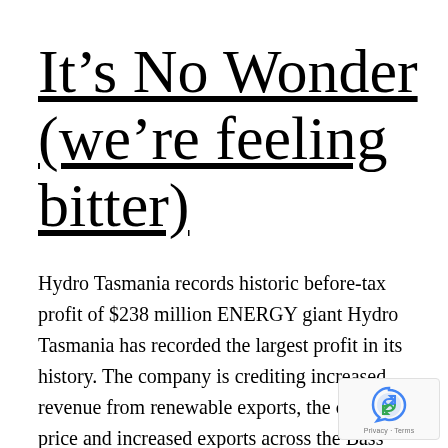It’s No Wonder (we’re feeling bitter)
Hydro Tasmania records historic before-tax profit of $238 million ENERGY giant Hydro Tasmania has recorded the largest profit in its history. The company is crediting increased revenue from renewable exports, the carbon price and increased exports across the Bass Strait for a $238 million before-tax profit for the 2012-20 financial year. The result will bring […]